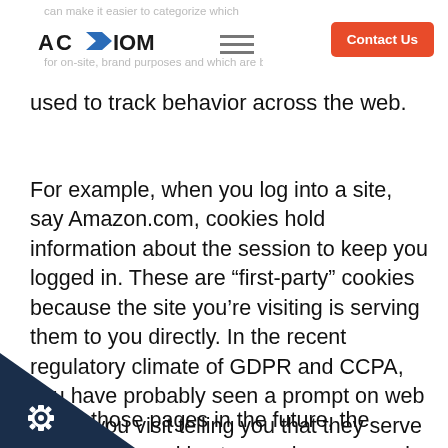can make it easier to categorize which for on-site, brand purposes and which are being
used to track behavior across the web.
For example, when you log into a site, say Amazon.com, cookies hold information about the session to keep you logged in. These are “first-party” cookies because the site you’re visiting is serving them to you directly. In the recent regulatory climate of GDPR and CCPA, you have probably seen a prompt on web pages you visit telling you that they serve a cookie or cookies to your browser and asking you to agree to their terms and conditions.
u visit those pages in the future, the website